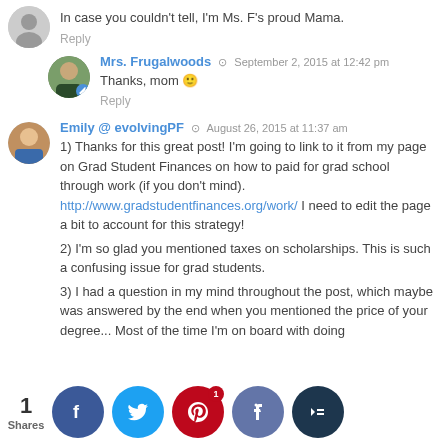In case you couldn't tell, I'm Ms. F's proud Mama.
Reply
Mrs. Frugalwoods · September 2, 2015 at 12:42 pm
Thanks, mom 🙂
Reply
Emily @ evolvingPF · August 26, 2015 at 11:37 am
1) Thanks for this great post! I'm going to link to it from my page on Grad Student Finances on how to paid for grad school through work (if you don't mind). http://www.gradstudentfinances.org/work/ I need to edit the page a bit to account for this strategy!
2) I'm so glad you mentioned taxes on scholarships. This is such a confusing issue for grad students.
3) I had a question in my mind throughout the post, which maybe was answered by the end when you mentioned the price of your degree... Most of the time I'm on board with doing t...gally/...but I w...dering...ing yo... em...r based...s benefi...really a n... for you...